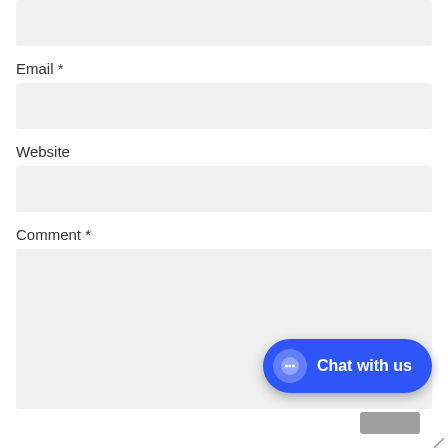[Figure (screenshot): Top portion of a web form input field (partially visible at top of page), showing a light gray input box]
Email *
[Figure (screenshot): Email input field — light gray rectangular input box]
Website
[Figure (screenshot): Website input field — light gray rectangular input box]
Comment *
[Figure (screenshot): Comment textarea — large light gray rectangular input box]
[Figure (screenshot): Chat with us button — blue pill-shaped button with chat bubble icon and white text 'Chat with us']